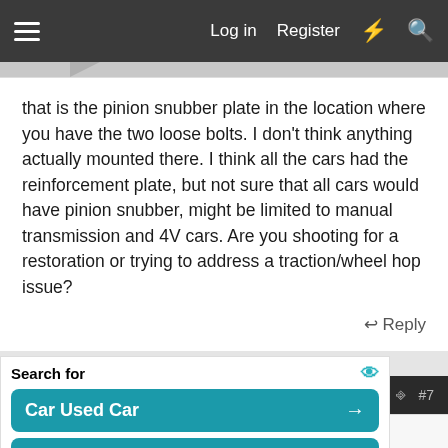Log in  Register
that is the pinion snubber plate in the location where you have the two loose bolts. I don't think anything actually mounted there. I think all the cars had the reinforcement plate, but not sure that all cars would have pinion snubber, might be limited to manual transmission and 4V cars. Are you shooting for a restoration or trying to address a traction/wheel hop issue?
Reply
May 24, 2022  #7
cwalker509
Well-known member  7173 Mustang Supporter Member
Search for
Car Used Car
Zero Down Car Lease
Yahoo! Search | Sponsored